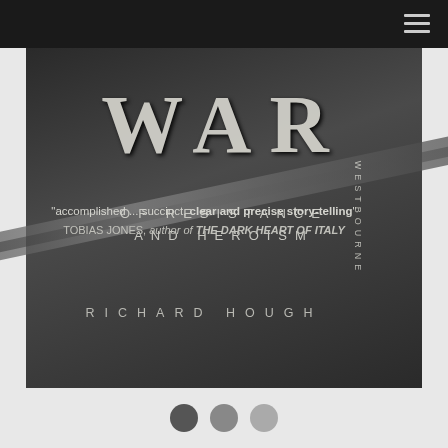[Figure (illustration): Book cover for 'War of Resistance and Heroism' by Richard Hough, published by Westbourne. Dark monochrome cover with large WAR title text, subtitle, quote from Tobias Jones, and author name. Background shows a mechanical/rifle imagery.]
WAR
OF RESISTANCE
AND HEROISM
"accomplished ... succinct, clear and precise story-telling"
TOBIAS JONES, author of THE DARK HEART OF ITALY
RICHARD HOUGH
WESTBOURNE